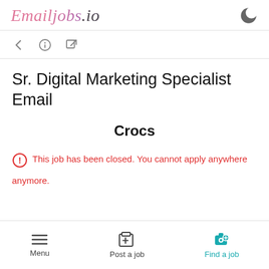Emailjobs.io
Sr. Digital Marketing Specialist Email
Crocs
This job has been closed. You cannot apply anymore.
Menu  Post a job  Find a job